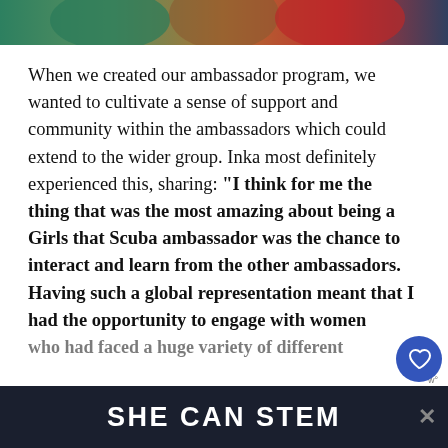[Figure (photo): Cropped top portion of a group photo showing people in colorful clothing (teal, patterned, red)]
When we created our ambassador program, we wanted to cultivate a sense of support and community within the ambassadors which could extend to the wider group. Inka most definitely experienced this, sharing: “I think for me the thing that was the most amazing about being a Girls that Scuba ambassador was the chance to interact and learn from the other ambassadors. Having such a global representation meant that I had the opportunity to engage with women who had faced a huge variety of different s...
SHE CAN STEM